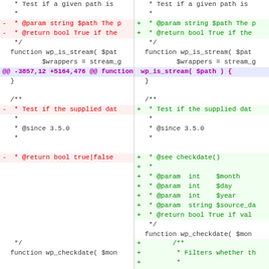[Figure (screenshot): A two-column unified diff view of PHP source code showing changes to wp_is_stream and wp_checkdate functions. Left column shows old version, right column shows new version. Removed lines (red, background #fff0f0) and added lines (green, background #f0fff0) are highlighted. Hunk headers shown in purple.]